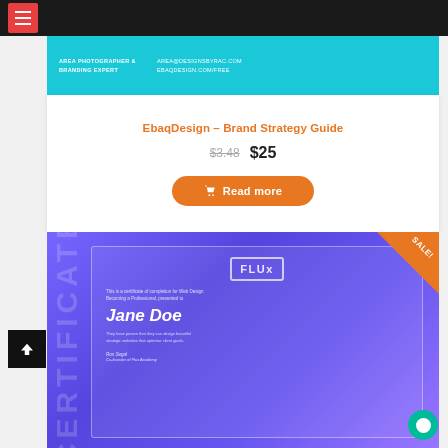Navigation bar with hamburger menu
[Figure (screenshot): Product card header with cyan background showing AREA PHOTOGRAPHER & BRANDING EXPERT on left and AREA@DESIGNSBYRAC.COM EBAQDESIGN.COM/FREE on right]
EbaqDesign – Brand Strategy Guide
$3.48  $25
Read more
[Figure (photo): Certificate of completion from Flux Academy issued to Jane Doe for Web Design Becoming a Professional, with CERTIFICATE text on the left side and a SALE! badge in the top-right corner]